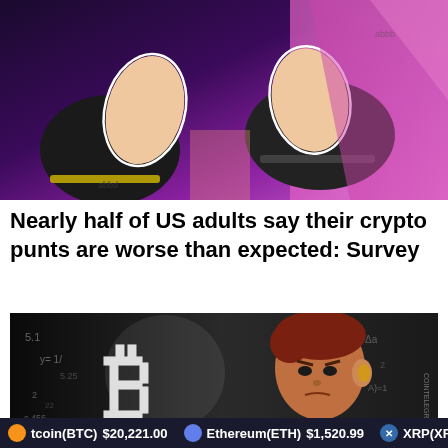[Figure (illustration): Cartoon illustration of hands with thumbs down gesture against purple and pink background, comic book style]
Nearly half of US adults say their crypto punts are worse than expected: Survey
[Figure (illustration): Cartoon illustration of a man with Bitcoin symbol and mathematical equations on dark chalkboard background, Cointelegraph style]
tcoin(BTC) $20,221.00   Ethereum(ETH) $1,520.99   XRP(XRP